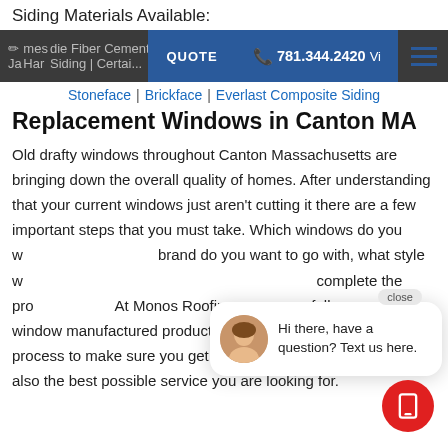Siding Materials Available:
James Hardie Fiber Cement Siding | Certainteed | QUOTE | 781.344.2420 | Stoneface | Brickface | Everlast Composite Siding
Replacement Windows in Canton MA
Old drafty windows throughout Canton Massachusetts are bringing down the overall quality of homes. After understanding that your current windows just aren't cutting it there are a few important steps that you must take. Which windows do you want to replace, what brand do you want to go with, what style windows do you want, and who do you call to complete the project for you. At Monos Roofing we carry a full range of window manufactured products. We will walk through the entire process to make sure you get the exact windows you want but also the best possible service you are looking for.